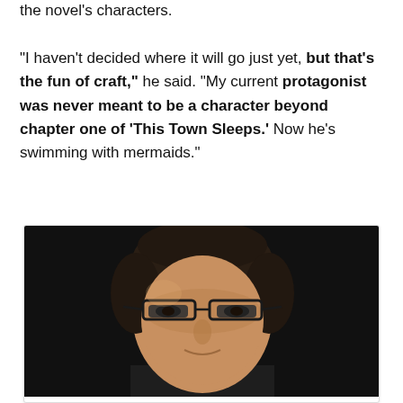the novel's characters.
"I haven't decided where it will go just yet, but that's the fun of craft," he said. "My current protagonist was never meant to be a character beyond chapter one of 'This Town Sleeps.' Now he's swimming with mermaids."
[Figure (photo): Portrait photo of a man with short dark hair and glasses, wearing a dark shirt, photographed against a dark background. Head and shoulders shot.]